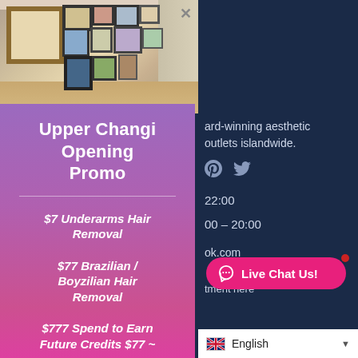[Figure (photo): Interior gallery/hallway photo showing framed artwork on wall, wooden floor, modern aesthetic clinic interior]
Upper Changi Opening Promo
$7 Underarms Hair Removal
$77 Brazilian / Boyzilian Hair Removal
$777 Spend to Earn Future Credits $77 ~
ard-winning aesthetic outlets islandwide.
22:00
00 - 20:00
ok.com
tment here
Live Chat Us!
English